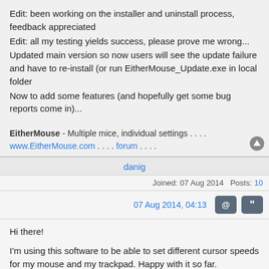Edit: been working on the installer and uninstall process, feedback appreciated
Edit: all my testing yields success, please prove me wrong...
Updated main version so now users will see the update failure and have to re-install (or run EitherMouse_Update.exe in local folder
Now to add some features (and hopefully get some bug reports come in)...
EitherMouse - Multiple mice, individual settings . . . . www.EitherMouse.com . . . . forum . . . .
danig
Joined: 07 Aug 2014   Posts: 10
07 Aug 2014, 04:13
Hi there!
I'm using this software to be able to set different cursor speeds for my mouse and my trackpad. Happy with it so far.
Recently it started showing this message about updating, something like "Click here to update... latest version: 0.5987", but when I click on it nothing happens. It also mentions an eithermouse_update.exe file, but I